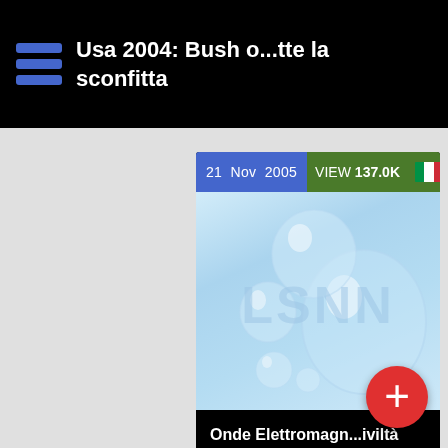Usa 2004: Bush o...tte la sconfitta
[Figure (screenshot): LSNN news article card showing date 21 Nov 2005, VIEW 137.0K, Italian flag, water droplets thumbnail image with LSNN watermark]
Onde Elettromagn...iviltà avanzata